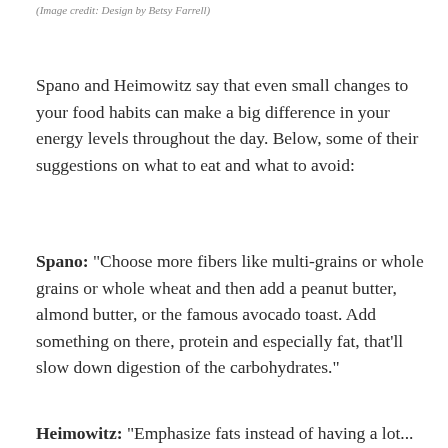(Image credit: Design by Betsy Farrell)
Spano and Heimowitz say that even small changes to your food habits can make a big difference in your energy levels throughout the day. Below, some of their suggestions on what to eat and what to avoid:
Spano: "Choose more fibers like multi-grains or whole grains or whole wheat and then add a peanut butter, almond butter, or the famous avocado toast. Add something on there, protein and especially fat, that'll slow down digestion of the carbohydrates."
Heimowitz: "Emphasize fats instead of having a lot...